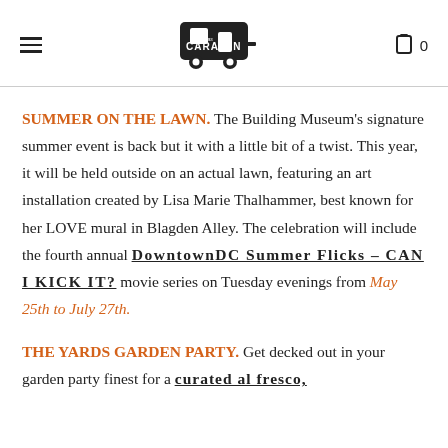Caravan [logo] 0
SUMMER ON THE LAWN. The Building Museum's signature summer event is back but it with a little bit of a twist. This year, it will be held outside on an actual lawn, featuring an art installation created by Lisa Marie Thalhammer, best known for her LOVE mural in Blagden Alley. The celebration will include the fourth annual DowntownDC Summer Flicks – CAN I KICK IT? movie series on Tuesday evenings from May 25th to July 27th.
THE YARDS GARDEN PARTY. Get decked out in your garden party finest for a curated al fresco,